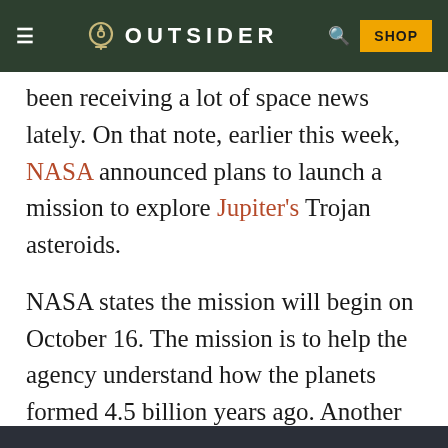OUTSIDER
been receiving a lot of space news lately. On that note, earlier this week, NASA announced plans to launch a mission to explore Jupiter's Trojan asteroids.
NASA states the mission will begin on October 16. The mission is to help the agency understand how the planets formed 4.5 billion years ago. Another objective is learning why they ended up in their current locations. Dubbed the Lucy mission, the rocket will leave